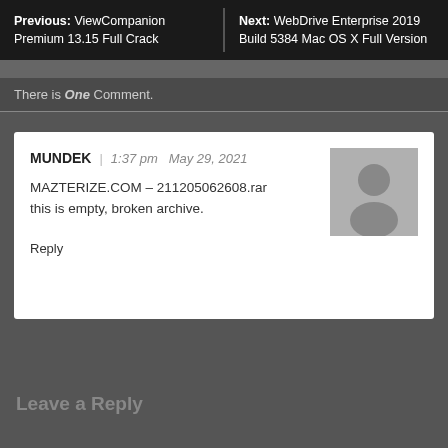Previous: ViewCompanion Premium 13.15 Full Crack | Next: WebDrive Enterprise 2019 Build 5384 Mac OS X Full Version
There is One Comment.
MUNDEK | 1:37 pm May 29, 2021
MAZTERIZE.COM – 211205062608.rar this is empty, broken archive.
Reply
Leave a Reply